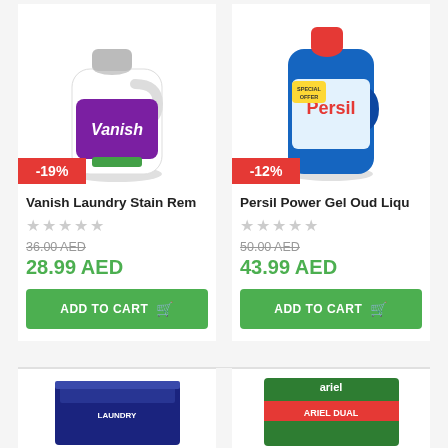[Figure (photo): Vanish Laundry Stain Remover bottle, white plastic with purple label, with -19% discount badge]
[Figure (photo): Persil Power Gel Oud Liquid detergent bottle, blue plastic with red cap, with -12% discount badge]
Vanish Laundry Stain Rem
★★★★★
36.00 AED (strikethrough)
28.99 AED
ADD TO CART
Persil Power Gel Oud Liqu
★★★★★
50.00 AED (strikethrough)
43.99 AED
ADD TO CART
[Figure (photo): Blue product package at bottom left, partially visible]
[Figure (photo): Ariel product package at bottom right, partially visible, green packaging with red text]